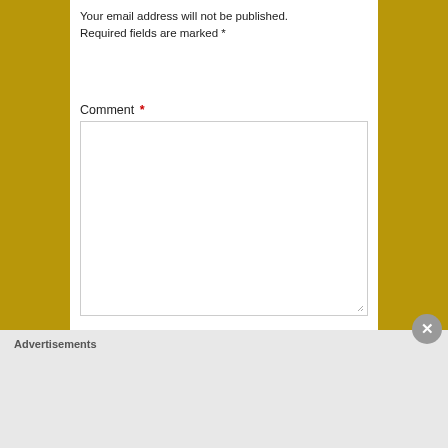Your email address will not be published. Required fields are marked *
Comment *
[Figure (other): Comment textarea input field with resize handle]
Name
[Figure (other): Name text input field]
Email
[Figure (other): Email text input field (partially visible)]
Advertisements